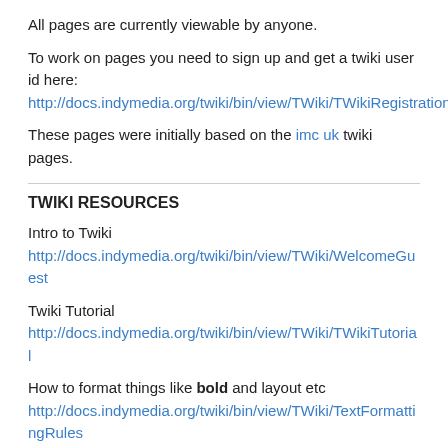All pages are currently viewable by anyone.
To work on pages you need to sign up and get a twiki user id here:
http://docs.indymedia.org/twiki/bin/view/TWiki/TWikiRegistration
These pages were initially based on the imc uk twiki pages.
TWIKI RESOURCES
Intro to Twiki
http://docs.indymedia.org/twiki/bin/view/TWiki/WelcomeGuest
Twiki Tutorial
http://docs.indymedia.org/twiki/bin/view/TWiki/TWikiTutorial
How to format things like bold and layout etc
http://docs.indymedia.org/twiki/bin/view/TWiki/TextFormattingRules
Formatting FAQ including attaching images
http://docs.indymedia.org/twiki/bin/view/TWiki/TextFormattingFAQ
TWIKI LINKS